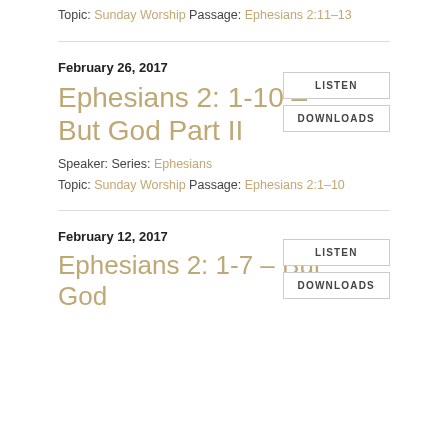Topic: Sunday Worship Passage: Ephesians 2:11–13
February 26, 2017
Ephesians 2: 1-10 - But God Part II
Speaker: Series: Ephesians
Topic: Sunday Worship Passage: Ephesians 2:1–10
LISTEN
DOWNLOADS
February 12, 2017
Ephesians 2: 1-7 - But God
LISTEN
DOWNLOADS